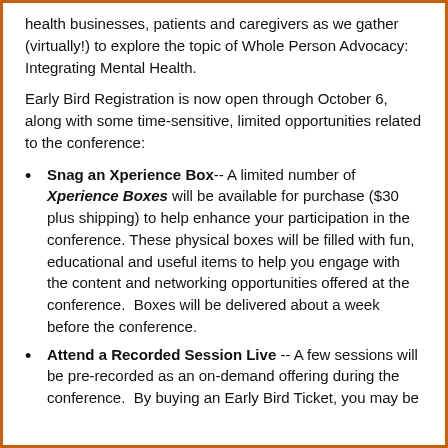health businesses, patients and caregivers as we gather (virtually!) to explore the topic of Whole Person Advocacy: Integrating Mental Health.
Early Bird Registration is now open through October 6, along with some time-sensitive, limited opportunities related to the conference:
Snag an Xperience Box-- A limited number of Xperience Boxes will be available for purchase ($30 plus shipping) to help enhance your participation in the conference. These physical boxes will be filled with fun, educational and useful items to help you engage with the content and networking opportunities offered at the conference. Boxes will be delivered about a week before the conference.
Attend a Recorded Session Live -- A few sessions will be pre-recorded as an on-demand offering during the conference. By buying an Early Bird Ticket, you may be